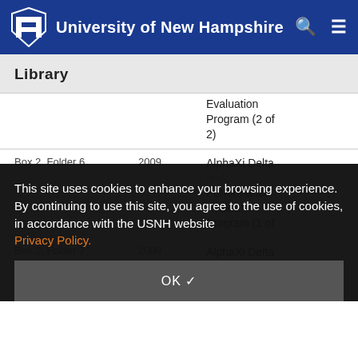University of New Hampshire
Library
Evaluation Program (2 of 2)
| Box/Folder | Year | Description |
| --- | --- | --- |
| Box 2, Folder 6 | 2009 | Alpha Xi Delta Greek Performance Evaluation Program (1 of ... |
| Box 2, Folder 7 | 2009 | Alpha Xi Delta Greek... |
This site uses cookies to enhance your browsing experience. By continuing to use this site, you agree to the use of cookies, in accordance with the USNH website Privacy Policy.